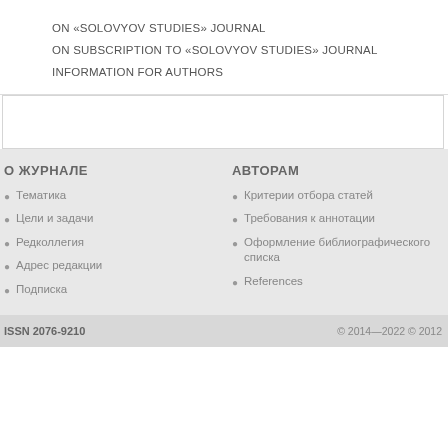ON «SOLOVYOV STUDIES» JOURNAL
ON SUBSCRIPTION TO «SOLOVYOV STUDIES» JOURNAL
INFORMATION FOR AUTHORS
О ЖУРНАЛЕ
Тематика
Цели и задачи
Редколлегия
Адрес редакции
Подписка
АВТОРАМ
Критерии отбора статей
Требования к аннотации
Оформление библиографического списка
References
ISSN 2076-9210   © 2014—2022 © 2012